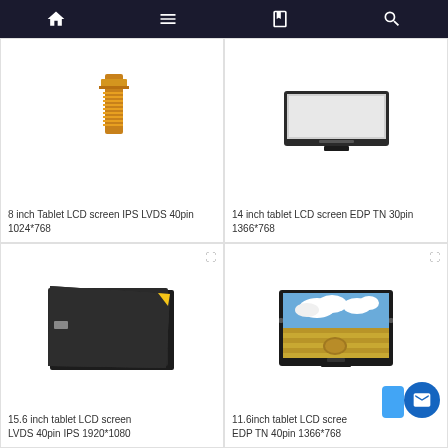Navigation bar with home, menu, book, search icons
[Figure (photo): Partial view of a tablet LCD screen connector/cable (orange/gold flex cable) for 8 inch Tablet LCD screen IPS LVDS 40pin 1024*768]
8 inch Tablet LCD screen IPS LVDS 40pin 1024*768
[Figure (photo): 14 inch tablet LCD screen showing thin display panel with EDP TN 30pin 1366*768]
14 inch tablet LCD screen EDP TN 30pin 1366*768
[Figure (photo): 15.6 inch dark/black tablet LCD panel back side showing 15.6 inch tablet LCD screen LVDS 40pin IPS 1920*1080]
15.6 inch tablet LCD screen LVDS 40pin IPS 1920*1080
[Figure (photo): 11.6 inch tablet LCD screen displaying a landscape photo with hay bales and sky, EDP TN 40pin 1366*768]
11.6inch tablet LCD screen EDP TN 40pin 1366*768